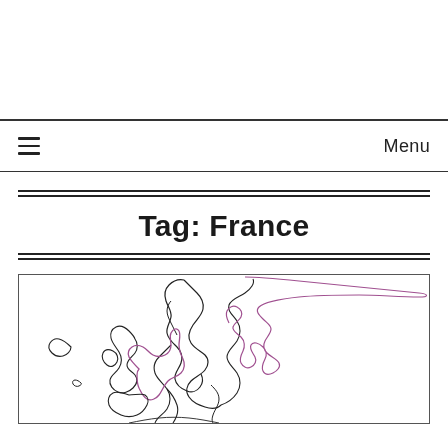Menu
Tag: France
[Figure (map): Partial map of Europe showing country outlines in black and a pink/purple highlighted region (likely France or a route through France) against a white background. Islands visible on the left side (likely Iceland and UK/Ireland). The map is cropped and shows the northern coast of Europe.]